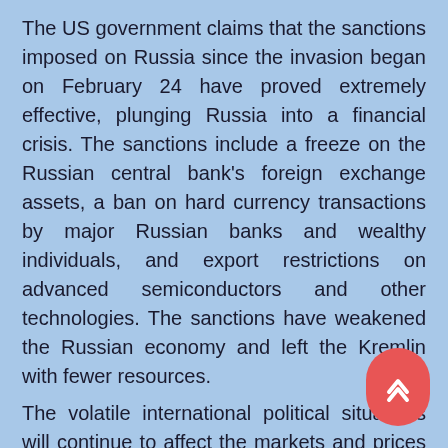The US government claims that the sanctions imposed on Russia since the invasion began on February 24 have proved extremely effective, plunging Russia into a financial crisis. The sanctions include a freeze on the Russian central bank's foreign exchange assets, a ban on hard currency transactions by major Russian banks and wealthy individuals, and export restrictions on advanced semiconductors and other technologies. The sanctions have weakened the Russian economy and left the Kremlin with fewer resources.
The volatile international political situations will continue to affect the markets and prices of many commodities like the graphite price.
Graphite price have moved higher again over the month. Fine flake prices have soared.
Graphite Market News - The global graphite market is